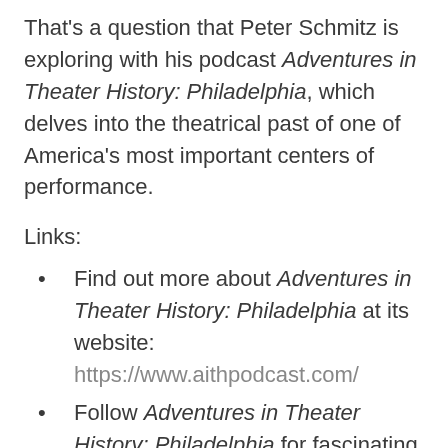That's a question that Peter Schmitz is exploring with his podcast Adventures in Theater History: Philadelphia, which delves into the theatrical past of one of America's most important centers of performance.
Links:
Find out more about Adventures in Theater History: Philadelphia at its website: https://www.aithpodcast.com/
Follow Adventures in Theater History: Philadelphia for fascinating images